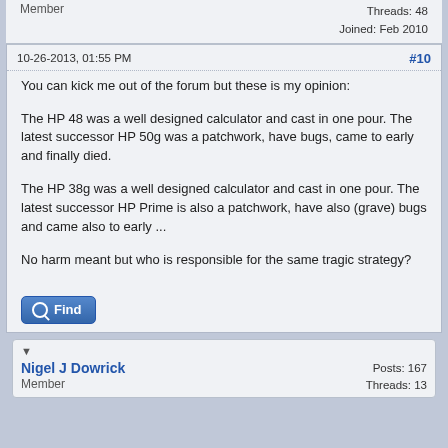Member
Threads: 48
Joined: Feb 2010
10-26-2013, 01:55 PM
#10
You can kick me out of the forum but these is my opinion:
The HP 48 was a well designed calculator and cast in one pour. The latest successor HP 50g was a patchwork, have bugs, came to early and finally died.
The HP 38g was a well designed calculator and cast in one pour. The latest successor HP Prime is also a patchwork, have also (grave) bugs and came also to early ...
No harm meant but who is responsible for the same tragic strategy?
Find
Nigel J Dowrick
Posts: 167
Threads: 13
Member